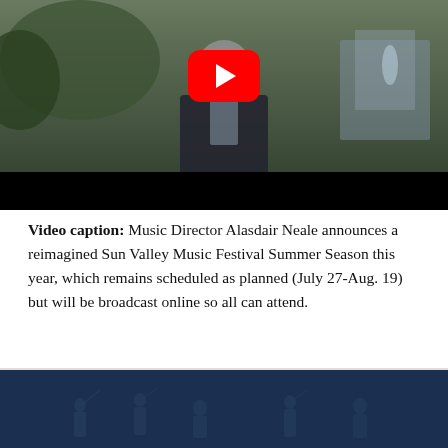[Figure (screenshot): YouTube video thumbnail showing a man in a dark blazer standing outdoors in a garden/park setting. A red YouTube play button is overlaid in the center. The bottom of the video has a black letterbox bar.]
Video caption: Music Director Alasdair Neale announces a reimagined Sun Valley Music Festival Summer Season this year, which remains scheduled as planned (July 27-Aug. 19) but will be broadcast online so all can attend.
[Figure (photo): Dark navy blue banner at the bottom of the page showing a faint silhouette of orchestra musicians performing, used as a decorative footer image.]